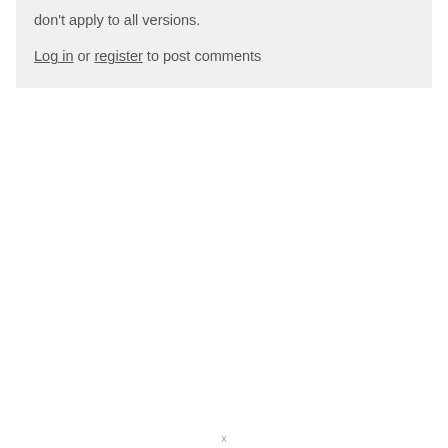don't apply to all versions.
Log in or register to post comments